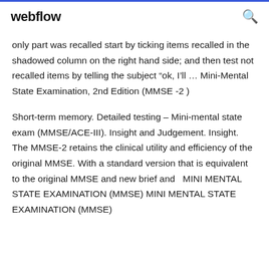webflow
only part was recalled start by ticking items recalled in the shadowed column on the right hand side; and then test not recalled items by telling the subject “ok, I’ll … Mini-Mental State Examination, 2nd Edition (MMSE -2 )
Short-term memory. Detailed testing – Mini-mental state exam (MMSE/ACE-III). Insight and Judgement. Insight. The MMSE-2 retains the clinical utility and efficiency of the original MMSE. With a standard version that is equivalent to the original MMSE and new brief and  MINI MENTAL STATE EXAMINATION (MMSE) MINI MENTAL STATE EXAMINATION (MMSE)